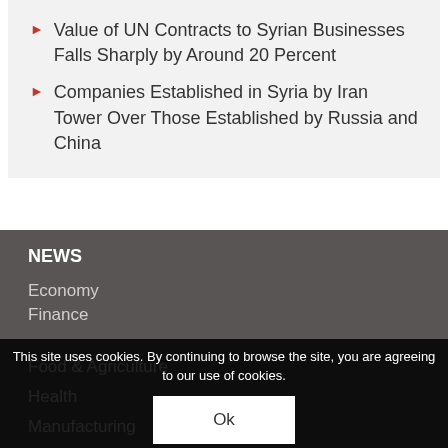Value of UN Contracts to Syrian Businesses Falls Sharply by Around 20 Percent
Companies Established in Syria by Iran Tower Over Those Established by Russia and China
NEWS
Economy
Finance
Food & Agriculture
Health
Manufacturing
Oil & Gas
This site uses cookies. By continuing to browse the site, you are agreeing to our use of cookies.